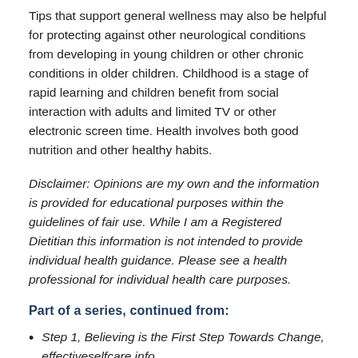Tips that support general wellness may also be helpful for protecting against other neurological conditions from developing in young children or other chronic conditions in older children. Childhood is a stage of rapid learning and children benefit from social interaction with adults and limited TV or other electronic screen time. Health involves both good nutrition and other healthy habits.
Disclaimer: Opinions are my own and the information is provided for educational purposes within the guidelines of fair use. While I am a Registered Dietitian this information is not intended to provide individual health guidance. Please see a health professional for individual health care purposes.
Part of a series, continued from:
Step 1, Believing is the First Step Towards Change, effectiveselfcare.info